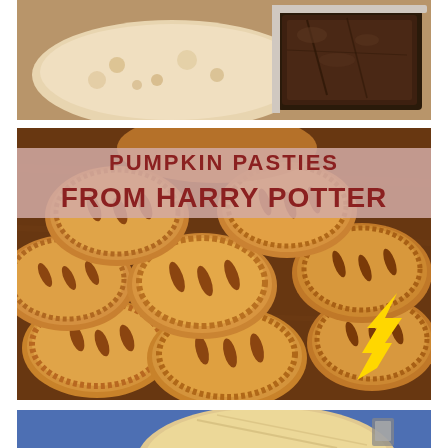[Figure (photo): Close-up photo of baked goods including what appears to be a pale flatbread or pastry on the left and a dark chocolate brownie on the right, on a surface.]
[Figure (photo): Photo of multiple golden-brown baked hand pies or pastry pockets piled together on a wooden board, with a yellow lightning bolt decoration visible at bottom right. Text overlay reads 'PUMPKIN PASTIES FROM HARRY POTTER' in bold dark red letters on a pink/rose background banner.]
PUMPKIN PASTIES FROM HARRY POTTER
[Figure (photo): Partial photo at bottom showing a round baked good on a blue background, partially cut off.]